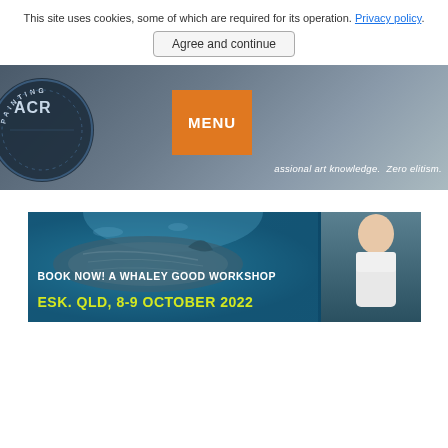This site uses cookies, some of which are required for its operation. Privacy policy.
Agree and continue
[Figure (screenshot): Website header banner for Acrylic Painting site. Shows a circular logo on the left with 'ACRYLIC PAINTING' text, an orange MENU button in the center, and a blurred studio/art background. Tagline reads 'professional art knowledge. Zero elitism.']
[Figure (photo): Promotional banner advertisement reading 'BOOK NOW! A WHALEY GOOD WORKSHOP ESK. QLD, 8-9 OCTOBER 2022' with an underwater whale image and a man smiling on the right side.]